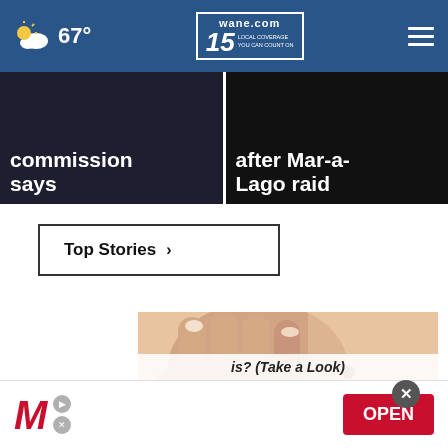67° wane.com 15 LOCAL COVERAGE YOU CAN COUNT ON
commission says
after Mar-a-Lago raid
Top Stories ›
[Figure (photo): Close-up of a hand examining moles on skin]
is? (Take a Look)